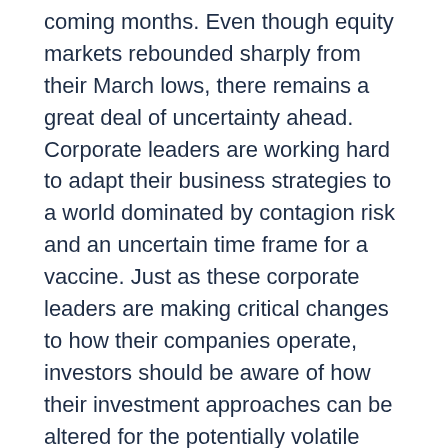coming months. Even though equity markets rebounded sharply from their March lows, there remains a great deal of uncertainty ahead. Corporate leaders are working hard to adapt their business strategies to a world dominated by contagion risk and an uncertain time frame for a vaccine. Just as these corporate leaders are making critical changes to how their companies operate, investors should be aware of how their investment approaches can be altered for the potentially volatile remainder of 2020.
Disclaimer:
The views, opinions, and content presented are for informational purposes only. They are not